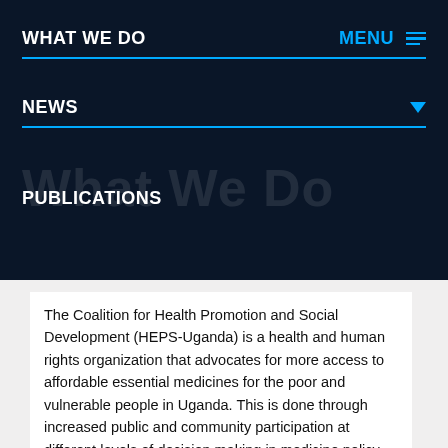WHAT WE DO
NEWS
What We Do
PUBLICATIONS
The Coalition for Health Promotion and Social Development (HEPS-Uganda) is a health and human rights organization that advocates for more access to affordable essential medicines for the poor and vulnerable people in Uganda. This is done through increased public and community participation at different levels of decision making in medicine policy formulation, implementation (procurement and supply chain) and rational use.